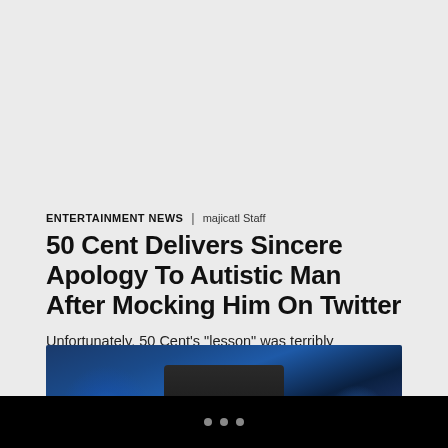ENTERTAINMENT NEWS | majicatl Staff
50 Cent Delivers Sincere Apology To Autistic Man After Mocking Him On Twitter
Unfortunately, 50 Cent's "lesson" was terribly misguided.
[Figure (photo): A performer wearing a large wide-brim black hat singing into a microphone on a dark blue-lit stage]